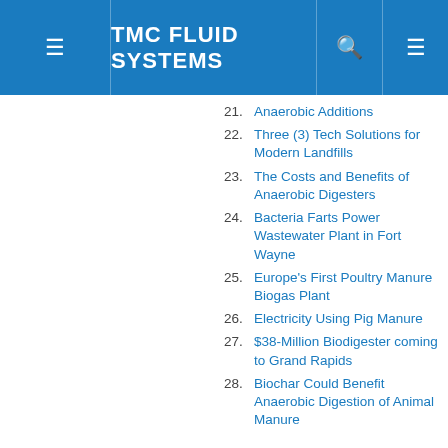TMC FLUID SYSTEMS
21. Anaerobic Additions
22. Three (3) Tech Solutions for Modern Landfills
23. The Costs and Benefits of Anaerobic Digesters
24. Bacteria Farts Power Wastewater Plant in Fort Wayne
25. Europe's First Poultry Manure Biogas Plant
26. Electricity Using Pig Manure
27. $38-Million Biodigester coming to Grand Rapids
28. Biochar Could Benefit Anaerobic Digestion of Animal Manure